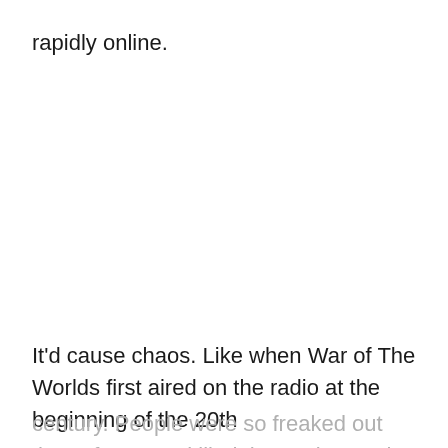rapidly online.
It'd cause chaos. Like when War of The Worlds first aired on the radio at the beginning of the 20th century. People were so freaked out that a few even killed themselves rather than face the wrath